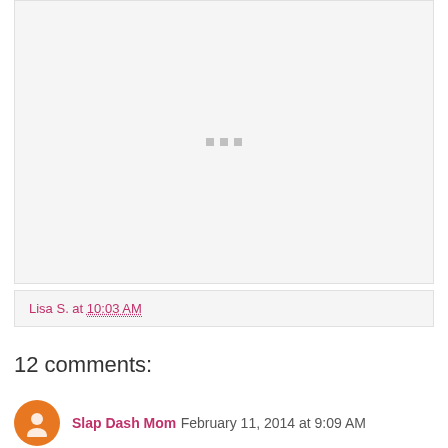[Figure (other): Placeholder image area with loading dots indicator]
Lisa S. at 10:03 AM
12 comments:
Slap Dash Mom  February 11, 2014 at 9:09 AM